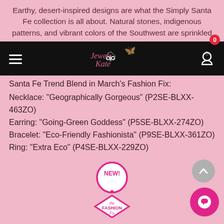Earthy, desert-inspired designs are what the Simply Santa Fe collection is all about. Natural stones, indigenous patterns, and vibrant colors of the Southwest are sprinkled throughout this trendy collection...
[Figure (screenshot): Navigation bar with hamburger menu, search icon, Jewels by Kate logo in center, and user/account icon on right. Cart badge shows 0.]
Santa Fe Trend Blend in March's Fashion Fix:
Necklace: "Geographically Gorgeous" (P2SE-BLXX-463ZO)
Earring: "Going-Green Goddess" (P5SE-BLXX-274ZO)
Bracelet: "Eco-Friendly Fashionista" (P9SE-BLXX-361ZO)
Ring: "Extra Eco" (P4SE-BLXX-229ZO)
[Figure (logo): Fashion Fix logo badge with 'NEW!' in a circle above a diamond shape with 'the Fashion Fix' text]